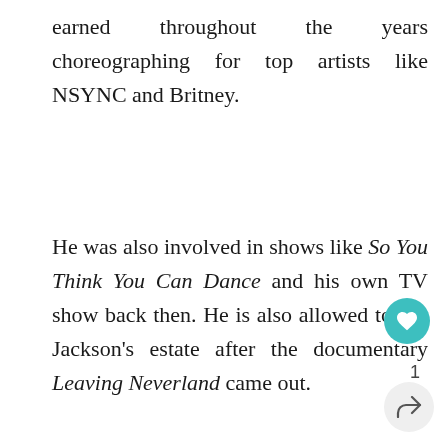earned throughout the years choreographing for top artists like NSYNC and Britney.
He was also involved in shows like So You Think You Can Dance and his own TV show back then. He is also allowed to sue Jackson’s estate after the documentary Leaving Neverland came out.